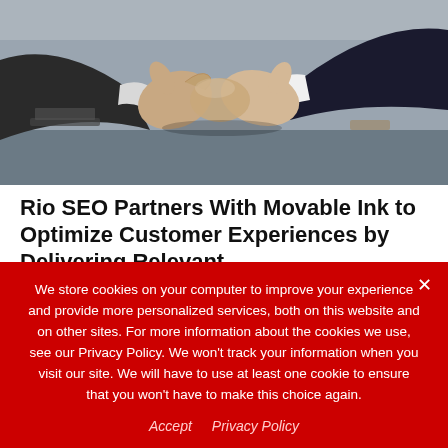[Figure (photo): Two people in business attire shaking hands across a table, with a laptop visible in the background.]
Rio SEO Partners With Movable Ink to Optimize Customer Experiences by Delivering Relevant,…
Prweb • Jul 20, 2022
We store cookies on your computer to improve your experience and provide more personalized services, both on this website and on other sites. For more information about the cookies we use, see our Privacy Policy. We won't track your information when you visit our site. We will have to use at least one cookie to ensure that you won't have to make this choice again.
Accept   Privacy Policy